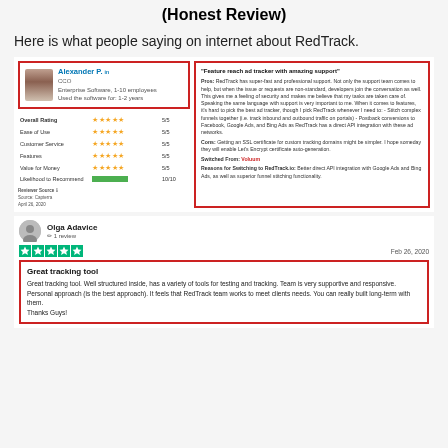(Honest Review)
Here is what people saying on internet about RedTrack.
[Figure (screenshot): Capterra review by Alexander P., CCO at Enterprise Software (1-10 employees), used software for 1-2 years. Overall Rating 5/5, Ease of Use 5/5, Customer Service 5/5, Features 5/5, Value for Money 5/5, Likelihood to Recommend 10/10. Review title: 'Feature reach ad tracker with amazing support'. Pros about super-fast professional support and feature richness. Cons about SSL certificate for custom tracking domains. Switched From: Voluum. Source: Capterra, April 26, 2020.]
[Figure (screenshot): Trustpilot review by Olga Adavice, 1 review, Feb 26 2020. 5-star rating. Review title: 'Great tracking tool'. Text: 'Great tracking tool. Well structured inside, has a variety of tools for testing and tracking. Team is very supportive and responsive. Personal approach (is the best approach). It feels that RedTrack team works to meet clients needs. You can really built long-term with them. Thanks Guys!']